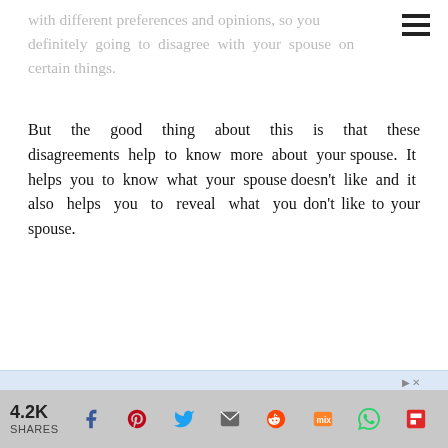with different preferences and opinions, so you definitely going to disagree with your spouse on certain things.
But the good thing about this is that these disagreements help to know more about your spouse. It helps you to know what your spouse doesn't like and it also helps you to reveal what you don't like to your spouse.
[Figure (infographic): Kynix advertisement banner with logo, chip image, text 'Over 1000+ Integrated circuit']
4.2K SHARES [social share icons: Facebook, Pinterest, Twitter, Email, Reddit, Mix, WhatsApp, Flipboard]